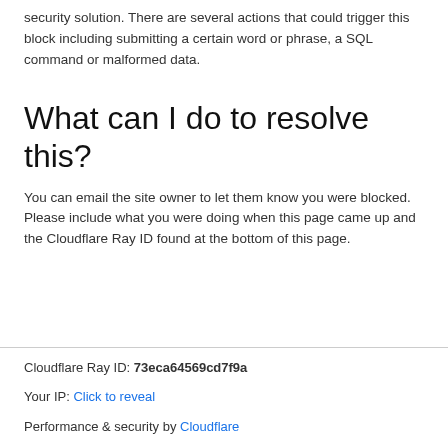security solution. There are several actions that could trigger this block including submitting a certain word or phrase, a SQL command or malformed data.
What can I do to resolve this?
You can email the site owner to let them know you were blocked. Please include what you were doing when this page came up and the Cloudflare Ray ID found at the bottom of this page.
Cloudflare Ray ID: 73eca64569cd7f9a
Your IP: Click to reveal
Performance & security by Cloudflare